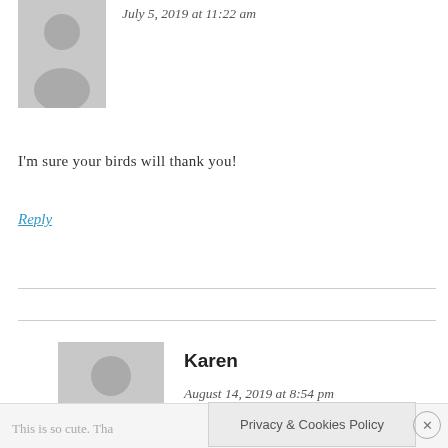[Figure (illustration): Gray placeholder avatar icon (top commenter), partial view cropped at top]
July 5, 2019 at 11:22 am
I'm sure your birds will thank you!
Reply
[Figure (illustration): Gray placeholder avatar icon for Karen]
Karen
August 14, 2019 at 8:54 pm
This is so cute. Tha
Privacy & Cookies Policy